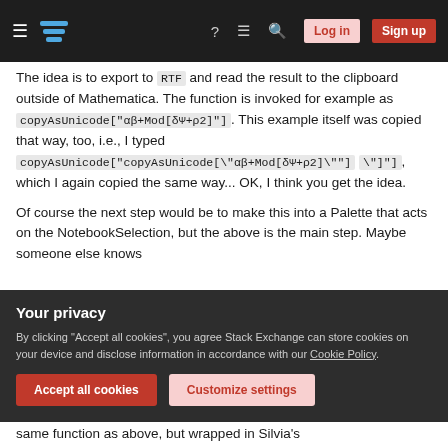Stack Exchange navigation bar with hamburger menu, logo, help, chat, search icons, Log in and Sign up buttons
The idea is to export to "RTF" and read the result to the clipboard outside of Mathematica. The function is invoked for example as copyAsUnicode["αβ+Mod[δΨ+ρ2]"]. This example itself was copied that way, too, i.e., I typed copyAsUnicode["copyAsUnicode[\"αβ+Mod[δΨ+ρ2]\""]"]​, which I again copied the same way... OK, I think you get the idea.
Of course the next step would be to make this into a Palette that acts on the NotebookSelection, but the above is the main step. Maybe someone else knows
Your privacy
By clicking "Accept all cookies", you agree Stack Exchange can store cookies on your device and disclose information in accordance with our Cookie Policy.
Accept all cookies
Customize settings
same function as above, but wrapped in Silvia's